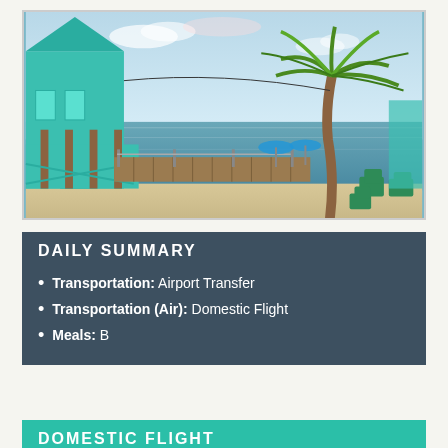[Figure (photo): Tropical beach scene with a turquoise/teal wooden building on the left, a wooden pier/dock extending toward the ocean, palm tree on the right, blue sky with clouds, green outdoor chairs visible near the waterfront.]
DAILY SUMMARY
Transportation: Airport Transfer
Transportation (Air): Domestic Flight
Meals: B
DOMESTIC FLIGHT